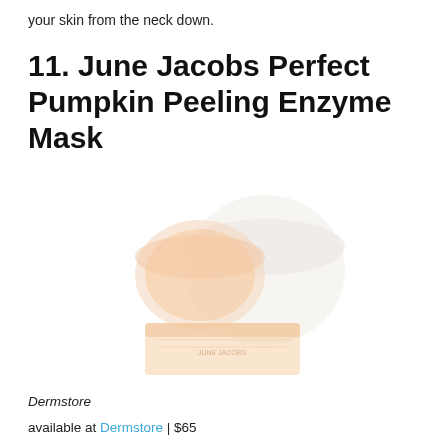your skin from the neck down.
11. June Jacobs Perfect Pumpkin Peeling Enzyme Mask
[Figure (photo): Product photo of June Jacobs Perfect Pumpkin Peeling Enzyme Mask — two cream/peach colored containers (a round jar and a rectangular box) on a white background, rendered in very light/faded tones]
Dermstore
available at Dermstore | $65